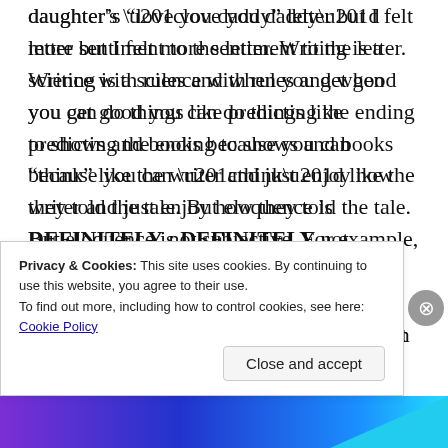daughter's “love you daddy” letter but I felt more sentiment to the letter. Writing is a science with rules and when you get good you can do things like predicting the ending to shows and books because you can “think” like the writer and just enjoy how they told the tale. But eloquence is DEFINITELY not subjective. For example, when Farid was going through “Surah Corana” he talked about “yeah this description was unnecessary they were just trying to
Privacy & Cookies: This site uses cookies. By continuing to use this website, you agree to their use.
To find out more, including how to control cookies, see here: Cookie Policy
Close and accept